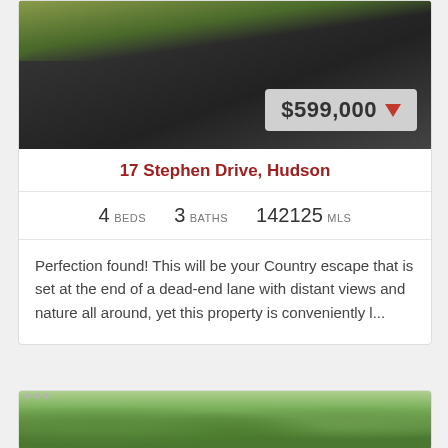[Figure (photo): Aerial or ground-level photo of a dark asphalt driveway with green trees/shrubs on the sides]
$599,000 ▼
17 Stephen Drive, Hudson
4 BEDS   3 BATHS   142125 MLS
Perfection found! This will be your Country escape that is set at the end of a dead-end lane with distant views and nature all around, yet this property is conveniently l...
[Figure (photo): Photo of green trees and wooded landscape]